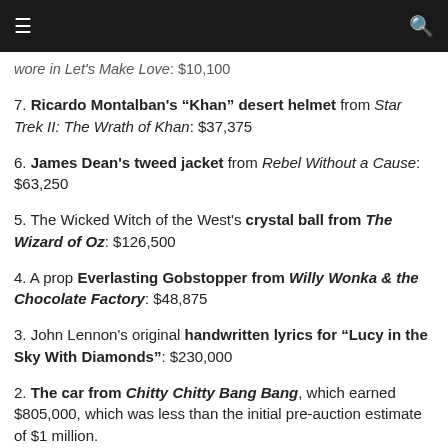☰  Q
wore in Let's Make Love: $10,100
7. Ricardo Montalban's “Khan” desert helmet from Star Trek II: The Wrath of Khan: $37,375
6. James Dean's tweed jacket from Rebel Without a Cause: $63,250
5. The Wicked Witch of the West's crystal ball from The Wizard of Oz: $126,500
4. A prop Everlasting Gobstopper from Willy Wonka & the Chocolate Factory: $48,875
3. John Lennon's original handwritten lyrics for “Lucy in the Sky With Diamonds”: $230,000
2. The car from Chitty Chitty Bang Bang, which earned $805,000, which was less than the initial pre-auction estimate of $1 million.
1. Walt Disney's letter to Mickey Mouse creator Ub Iwerks, asking him to help start a studio: $241,500
A cardigan sweater worn by Jeff Bridges in The Big Lebowski was